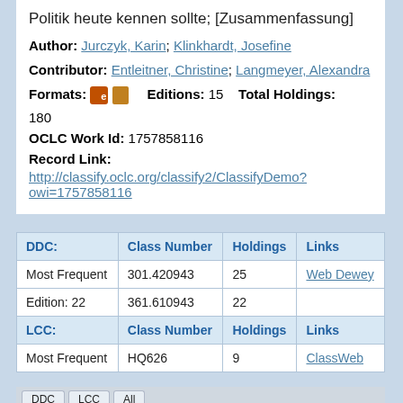Politik heute kennen sollte; [Zusammenfassung]
Author: Jurczyk, Karin; Klinkhardt, Josefine
Contributor: Entleitner, Christine; Langmeyer, Alexandra
Formats: [icons] Editions: 15 Total Holdings: 180
OCLC Work Id: 1757858116
Record Link:
http://classify.oclc.org/classify2/ClassifyDemo?owi=1757858116
| DDC: | Class Number | Holdings | Links |
| --- | --- | --- | --- |
| Most Frequent | 301.420943 | 25 | Web Dewey |
| Edition: 22 | 361.610943 | 22 |  |
| LCC: | Class Number | Holdings | Links |
| Most Frequent | HQ626 | 9 | ClassWeb |